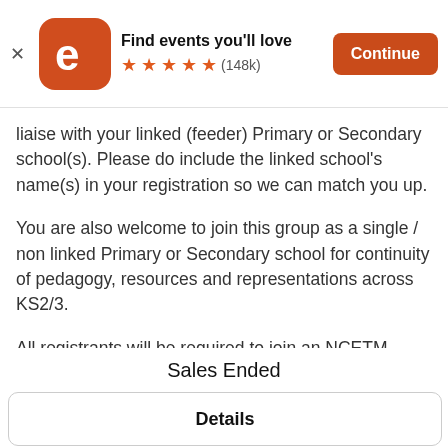[Figure (screenshot): Eventbrite app install banner with orange logo, 'Find events you'll love' text, 5 stars rating (148k reviews), and orange Continue button]
liaise with your linked (feeder) Primary or Secondary school(s). Please do include the linked school's name(s) in your registration so we can match you up.
You are also welcome to join this group as a single / non linked Primary or Secondary school for continuity of pedagogy, resources and representations across KS2/3.
All registrants will be required to join an NCETM Basecamp online community for this Work Group in order to access resources and information. Please ensure you tick the box to confirm this when you
Sales Ended
Details